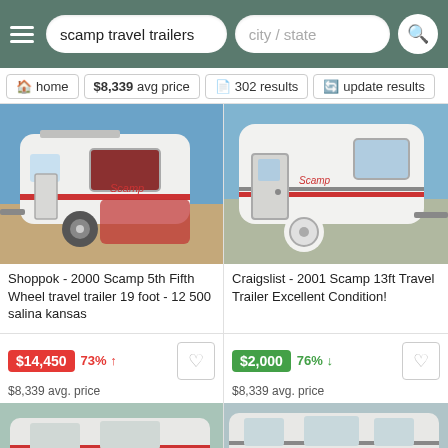scamp travel trailers | city / state
home | $8,339 avg price | 302 results | update results
[Figure (photo): White Scamp travel trailer, side view with red curtains in window, red vehicle in background]
Shoppok - 2000 Scamp 5th Fifth Wheel travel trailer 19 foot - 12 500 salina kansas
[Figure (photo): White Scamp 13ft travel trailer, side/front view outdoors]
Craigslist - 2001 Scamp 13ft Travel Trailer Excellent Condition!
$14,450  73% ↑  $8,339 avg. price
[Figure (photo): Partial view of travel trailer, bottom card left]
$2,000  76% ↓  $8,339 avg. price
[Figure (photo): Partial view of travel trailer, bottom card right]
Refine results  scamp travel  travel trailers  rv under $5,00